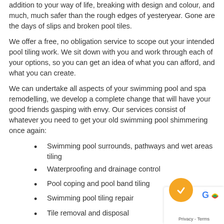addition to your way of life, breaking with design and colour, and much, much safer than the rough edges of yesteryear. Gone are the days of slips and broken pool tiles.
We offer a free, no obligation service to scope out your intended pool tiling work. We sit down with you and work through each of your options, so you can get an idea of what you can afford, and what you can create.
We can undertake all aspects of your swimming pool and spa remodelling, we develop a complete change that will have your good friends gasping with envy. Our services consist of whatever you need to get your old swimming pool shimmering once again:
Swimming pool surrounds, pathways and wet areas tiling
Waterproofing and drainage control
Pool coping and pool band tiling
Swimming pool tiling repair
Tile removal and disposal